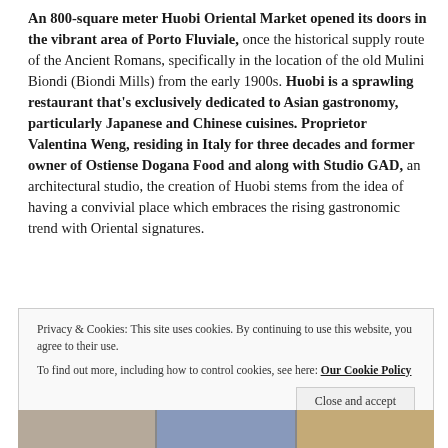An 800-square meter Huobi Oriental Market opened its doors in the vibrant area of Porto Fluviale, once the historical supply route of the Ancient Romans, specifically in the location of the old Mulini Biondi (Biondi Mills) from the early 1900s. Huobi is a sprawling restaurant that's exclusively dedicated to Asian gastronomy, particularly Japanese and Chinese cuisines. Proprietor Valentina Weng, residing in Italy for three decades and former owner of Ostiense Dogana Food and along with Studio GAD, an architectural studio, the creation of Huobi stems from the idea of having a convivial place which embraces the rising gastronomic trend with Oriental signatures.
Privacy & Cookies: This site uses cookies. By continuing to use this website, you agree to their use.
To find out more, including how to control cookies, see here: Our Cookie Policy
[Figure (photo): A strip of three small thumbnail photos at the bottom of the page, partially visible.]